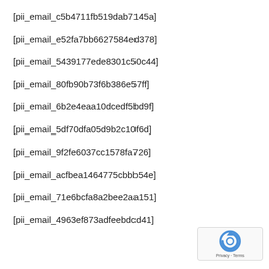[pii_email_c5b4711fb519dab7145a]
[pii_email_e52fa7bb6627584ed378]
[pii_email_5439177ede8301c50c44]
[pii_email_80fb90b73f6b386e57ff]
[pii_email_6b2e4eaa10dcedf5bd9f]
[pii_email_5df70dfa05d9b2c10f6d]
[pii_email_9f2fe6037cc1578fa726]
[pii_email_acfbea1464775cbbb54e]
[pii_email_71e6bcfa8a2bee2aa151]
[pii_email_4963ef873adfeebdcd41]